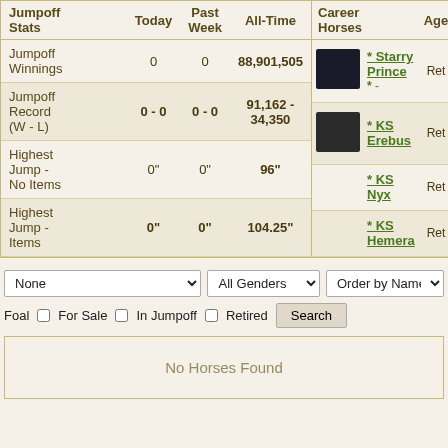| Jumpoff Stats | Today | Past Week | All-Time |
| --- | --- | --- | --- |
| Jumpoff Winnings | 0 | 0 | 88,901,505 |
| Jumpoff Record (W - L) | 0 - 0 | 0 - 0 | 91,162 - 34,350 |
| Highest Jump - No Items | 0" | 0" | 96" |
| Highest Jump - Items | 0" | 0" | 104.25" |
| Career Horses | Age | W - L |
| --- | --- | --- |
| * Starry Prince * | Ret | 3,789 - 27... |
| * KS Erebus | Ret | 3,957 - 78... |
| * KS Nyx | Ret | 3,849 - 96... |
| * KS Hemera | Ret | 2,215 - 19... |
None | All Genders | Order by Name
Foal  For Sale  In Jumpoff  Retired  Search
No Horses Found